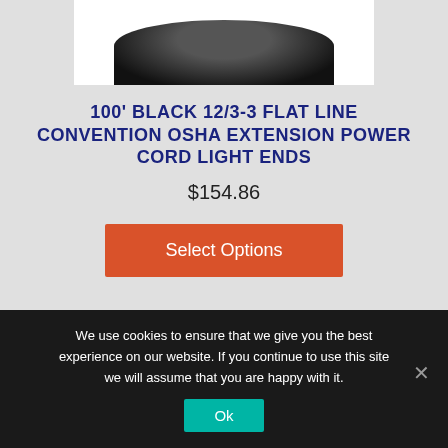[Figure (photo): Product photo of a coiled black extension power cord, partially shown at top of page]
100' BLACK 12/3-3 FLAT LINE CONVENTION OSHA EXTENSION POWER CORD LIGHT ENDS
$154.86
Select Options
We use cookies to ensure that we give you the best experience on our website. If you continue to use this site we will assume that you are happy with it.
Ok